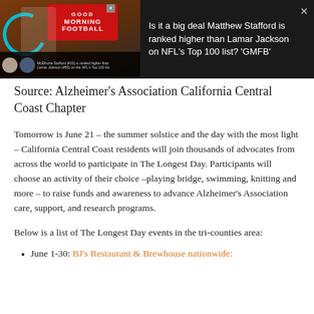[Figure (screenshot): Video thumbnail showing a TV show 'Good Morning Football' with a person in a white shirt, a teal circular graphic, and the show logo in red. Below is a bottom bar with two avatars and caption text about Matthew Stafford ranked higher than Lamar Jackson on NFL's Top 100 list.]
Is it a big deal Matthew Stafford is ranked higher than Lamar Jackson on NFL's Top 100 list? 'GMFB'
Source: Alzheimer's Association California Central Coast Chapter
Tomorrow is June 21 – the summer solstice and the day with the most light – California Central Coast residents will join thousands of advocates from across the world to participate in The Longest Day. Participants will choose an activity of their choice –playing bridge, swimming, knitting and more – to raise funds and awareness to advance Alzheimer's Association care, support, and research programs.
Below is a list of The Longest Day events in the tri-counties area:
June 1-30: BJ's Restaurant & Brewhouse nationwide: